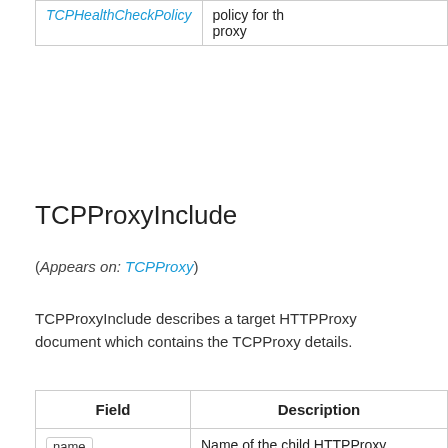|  |  |
| --- | --- |
| TCPHealthCheckPolicy | policy for th proxy |
TCPProxyInclude
(Appears on: TCPProxy)
TCPProxyInclude describes a target HTTPProxy document which contains the TCPProxy details.
| Field | Description |
| --- | --- |
| name string | Name of the child HTTPProxy |
|  | (Optional) |